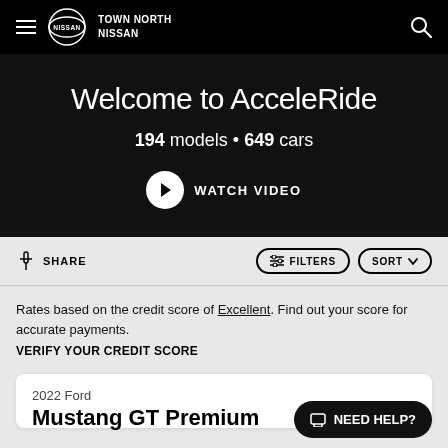Town North Nissan
Welcome to AcceleRide
194 models • 649 cars
WATCH VIDEO
SHARE
FILTERS
SORT
Rates based on the credit score of Excellent. Find out your score for accurate payments.
VERIFY YOUR CREDIT SCORE
2022 Ford
Mustang GT Premium